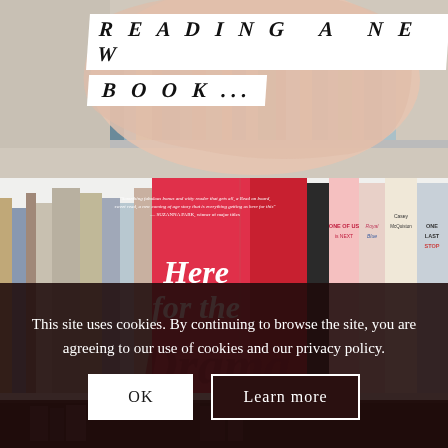[Figure (photo): Bookshelf photo with decorative text overlay reading 'READING A NEW BOOK...' in white serif italic boxes on a pink/peach blob shape background]
[Figure (photo): Bookshelf photo featuring a pink book with white script text reading 'Here for the Drama' prominently displayed among other books including 'One of Us is Next', 'Royal Blue', 'One Last Stop']
This site uses cookies. By continuing to browse the site, you are agreeing to our use of cookies and our privacy policy.